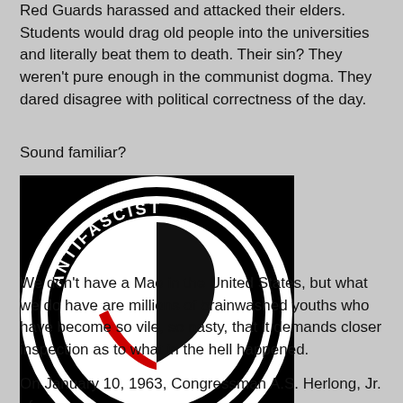Red Guards harassed and attacked their elders. Students would drag old people into the universities and literally beat them to death. Their sin? They weren't pure enough in the communist dogma. They dared disagree with political correctness of the day.
Sound familiar?
[Figure (illustration): Antifascist Action logo: black circle with white border, text 'ANTIFASCIST ACTION' around the ring, and two flags (black and red/white) in the center on a black background.]
We don't have a Mao in the United States, but what we do have are millions of brainwashed youths who have become so vile, so nasty, that it demands closer inspection as to what in the hell happened.
On January 10, 1963, Congressman A.S. Herlong, Jr. of